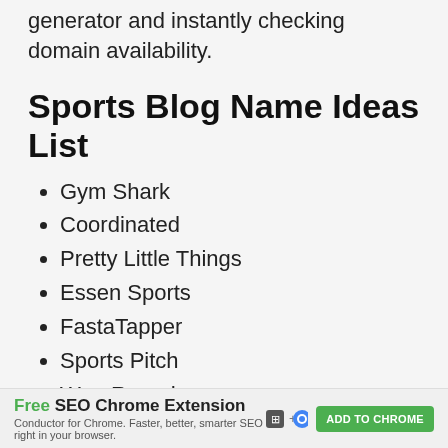keywords you enter using this blog name generator and instantly checking domain availability.
Sports Blog Name Ideas List
Gym Shark
Coordinated
Pretty Little Things
Essen Sports
FastaTapper
Sports Pitch
Won Round
Free SEO Chrome Extension — Conductor for Chrome. Faster, better, smarter SEO right in your browser. ADD TO CHROME